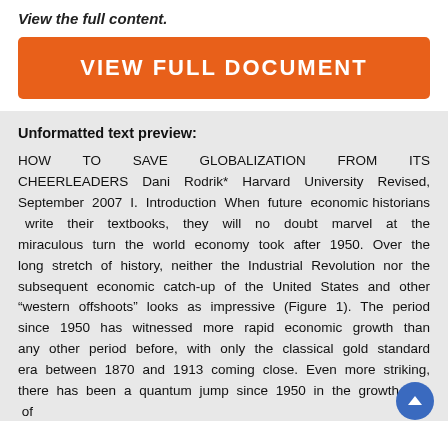View the full content.
[Figure (other): Orange button labeled VIEW FULL DOCUMENT]
Unformatted text preview:
HOW TO SAVE GLOBALIZATION FROM ITS CHEERLEADERS Dani Rodrik* Harvard University Revised, September 2007 I. Introduction When future economic historians write their textbooks, they will no doubt marvel at the miraculous turn the world economy took after 1950. Over the long stretch of history, neither the Industrial Revolution nor the subsequent economic catch-up of the United States and other “western offshoots” looks as impressive (Figure 1). The period since 1950 has witnessed more rapid economic growth than any other period before, with only the classical gold standard era between 1870 and 1913 coming close. Even more striking, there has been a quantum jump since 1950 in the growth rate of